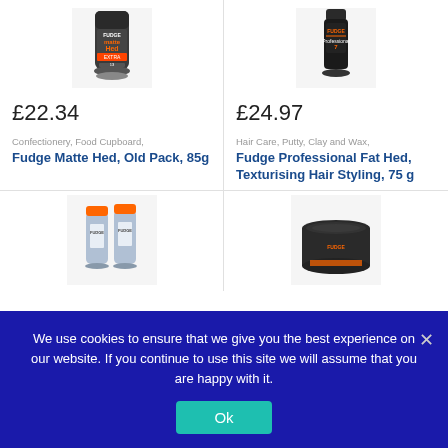[Figure (photo): Fudge Matte Hed product bottle, old pack, dark grey container with orange label]
[Figure (photo): Fudge Professional Fat Hed hair styling product in dark cylindrical container]
£22.34
£24.97
Confectionery, Food Cupboard,
Fudge Matte Hed, Old Pack, 85g
Hair Care, Putty, Clay and Wax,
Fudge Professional Fat Hed, Texturising Hair Styling, 75 g
[Figure (photo): Two orange spray cans of Fudge product]
[Figure (photo): Dark round jar of Fudge hair styling product]
We use cookies to ensure that we give you the best experience on our website. If you continue to use this site we will assume that you are happy with it.